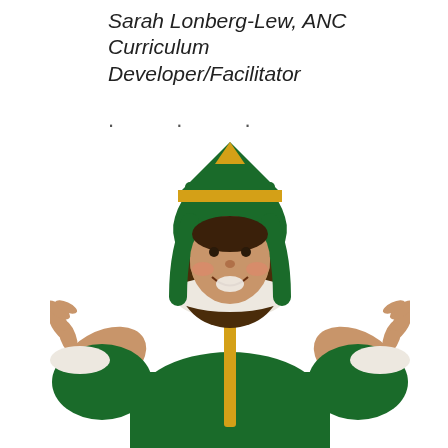Sarah Lonberg-Lew, ANC Curriculum Developer/Facilitator
[Figure (photo): A woman dressed in a green elf costume with a pointed green and yellow hat, white fur trim on the collar and cuffs, smiling and holding both hands up with palms facing outward, against a white background.]